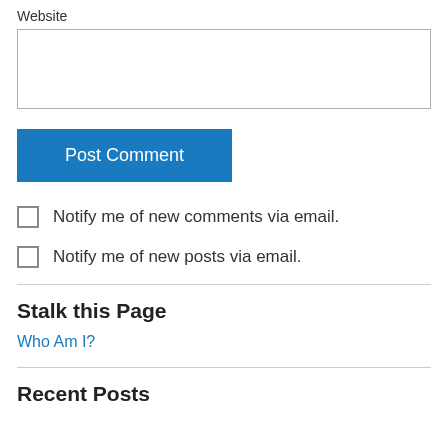Website
[text input field]
Post Comment
Notify me of new comments via email.
Notify me of new posts via email.
Stalk this Page
Who Am I?
Recent Posts